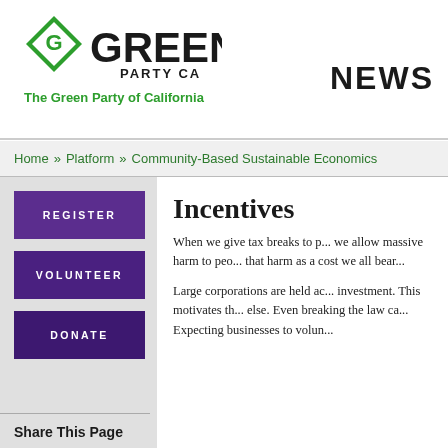[Figure (logo): Green Party of California logo with diamond G icon and bold GREEN text, PARTY CA subtitle, and tagline 'The Green Party of California' in green]
NEWS
Home » Platform » Community-Based Sustainable Economics
REGISTER
VOLUNTEER
DONATE
Incentives
When we give tax breaks to p... we allow massive harm to peo... that harm as a cost we all bear...
Large corporations are held ac... investment. This motivates th... else. Even breaking the law ca... Expecting businesses to volun... ...
Share This Page